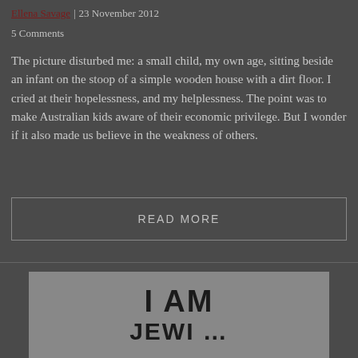Ellena Savage | 23 November 2012
5 Comments
The picture disturbed me: a small child, my own age, sitting beside an infant on the stoop of a simple wooden house with a dirt floor. I cried at their hopelessness, and my helplessness. The point was to make Australian kids aware of their economic privilege. But I wonder if it also made us believe in the weakness of others.
READ MORE
[Figure (photo): Photo of a person holding a sign reading 'I AM JEWISH' (partially visible), cropped to show only the top of the sign text 'I AM' and the beginning of the next word.]